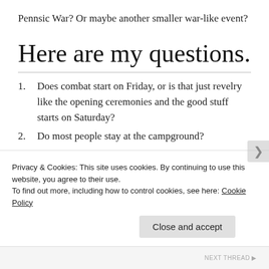Pennsic War? Or maybe another smaller war-like event?
Here are my questions.
Does combat start on Friday, or is that just revelry like the opening ceremonies and the good stuff starts on Saturday?
Do most people stay at the campground?
Privacy & Cookies: This site uses cookies. By continuing to use this website, you agree to their use.
To find out more, including how to control cookies, see here: Cookie Policy